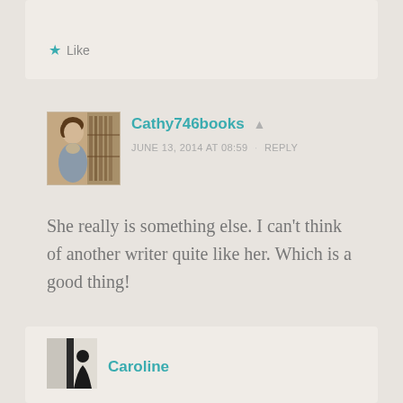[Figure (screenshot): Three dots menu icon (ellipsis) in teal color, top right corner]
★ Like
[Figure (photo): Sepia-toned vintage photo of a woman near bookshelves, used as avatar for Cathy746books]
Cathy746books
JUNE 13, 2014 AT 08:59 · REPLY
She really is something else. I can't think of another writer quite like her. Which is a good thing!
★ Like
[Figure (photo): Small avatar thumbnail showing a person silhouette, used for Caroline]
Caroline